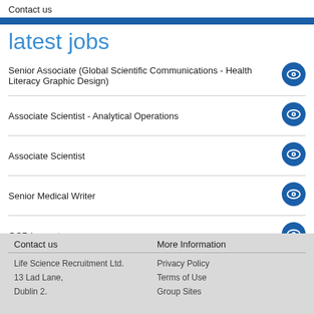Contact us
latest jobs
Senior Associate (Global Scientific Communications - Health Literacy Graphic Design)
Associate Scientist - Analytical Operations
Associate Scientist
Senior Medical Writer
GCP Inspector
Orthopaedic Scrub Nurse/ Clinical Support Specialist (Recon)
Contact us | More Information | Life Science Recruitment Ltd. | 13 Lad Lane, | Dublin 2. | Privacy Policy | Terms of Use | Group Sites